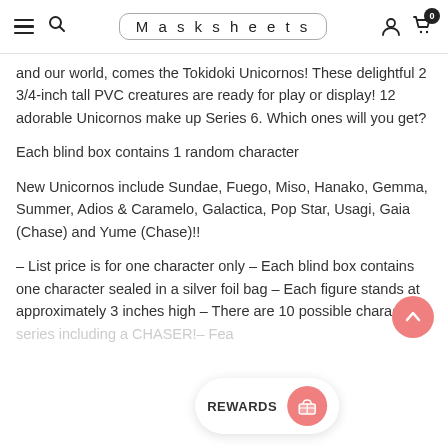Masksheets
and our world, comes the Tokidoki Unicornos! These delightful 2 3/4-inch tall PVC creatures are ready for play or display! 12 adorable Unicornos make up Series 6. Which ones will you get?
Each blind box contains 1 random character
New Unicornos include Sundae, Fuego, Miso, Hanako, Gemma, Summer, Adios & Caramelo, Galactica, Pop Star, Usagi, Gaia (Chase) and Yume (Chase)!!
– List price is for one character only – Each blind box contains one character sealed in a silver foil bag – Each figure stands at approximately 3 inches high – There are 10 possible character series including a CHASER!– Fea